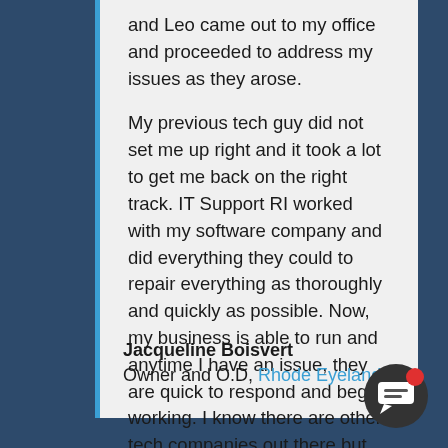and Leo came out to my office and proceeded to address my issues as they arose.
My previous tech guy did not set me up right and it took a lot to get me back on the right track. IT Support RI worked with my software company and did everything they could to repair everything as thoroughly and quickly as possible. Now, my business is able to run and anytime I have an issue, they are quick to respond and begin working. I know there are other tech companies out there but when it comes to quality and speed, IT Support RI has proven they are the best choice around.
Jacqueline Boisvert
Owner and O.D, Rhode Eyeland